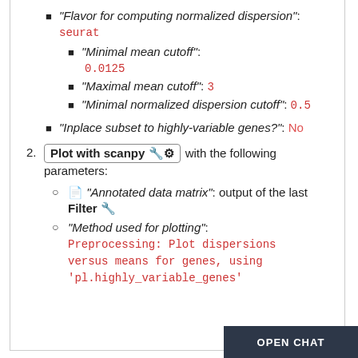"Flavor for computing normalized dispersion": seurat
"Minimal mean cutoff": 0.0125
"Maximal mean cutoff": 3
"Minimal normalized dispersion cutoff": 0.5
"Inplace subset to highly-variable genes?": No
Plot with scanpy (icon) with the following parameters:
"Annotated data matrix": output of the last Filter (icon)
"Method used for plotting": Preprocessing: Plot dispersions versus means for genes, using 'pl.highly_variable_genes'